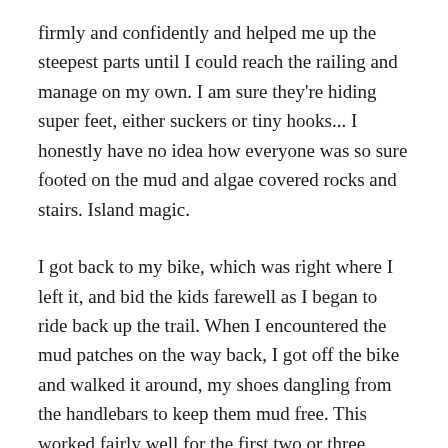firmly and confidently and helped me up the steepest parts until I could reach the railing and manage on my own. I am sure they're hiding super feet, either suckers or tiny hooks... I honestly have no idea how everyone was so sure footed on the mud and algae covered rocks and stairs. Island magic.
I got back to my bike, which was right where I left it, and bid the kids farewell as I began to ride back up the trail. When I encountered the mud patches on the way back, I got off the bike and walked it around, my shoes dangling from the handlebars to keep them mud free. This worked fairly well for the first two or three puddles, but soon I came upon a huge low place in the road. Somehow I'd ridden through it on my way in, but looking at it on the way out it seemed like an impassable lake. To